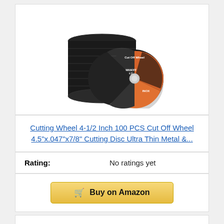[Figure (photo): Stack of black cut-off wheels/grinding discs with one disc leaning showing orange and black face labeled 'Cut Off Wheel', 'WANOFF 4.5"', 'INOX']
Cutting Wheel 4-1/2 Inch 100 PCS Cut Off Wheel 4.5"x.047"x7/8" Cutting Disc Ultra Thin Metal &...
Rating: No ratings yet
Buy on Amazon
Bestseller No. 9